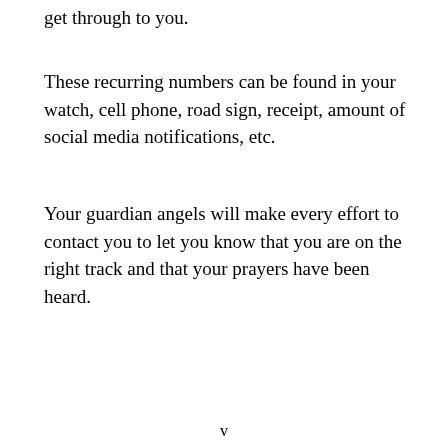get through to you.
These recurring numbers can be found in your watch, cell phone, road sign, receipt, amount of social media notifications, etc.
Your guardian angels will make every effort to contact you to let you know that you are on the right track and that your prayers have been heard.
v